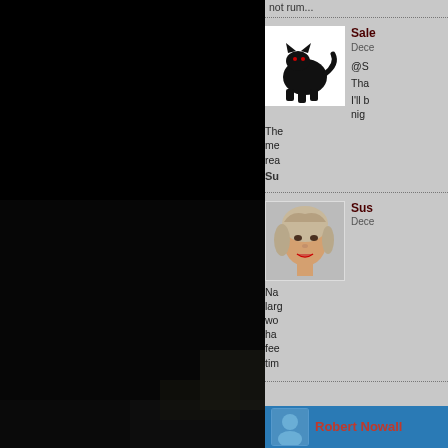not rum...
Sale December @S Tha I'll b nig The me rea
Su
Sus December Na larg wo ha fee tim
Robert Nowall